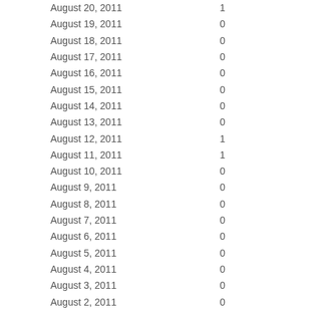| Date | Value |
| --- | --- |
| August 20, 2011 | 1 |
| August 19, 2011 | 0 |
| August 18, 2011 | 0 |
| August 17, 2011 | 0 |
| August 16, 2011 | 0 |
| August 15, 2011 | 0 |
| August 14, 2011 | 0 |
| August 13, 2011 | 0 |
| August 12, 2011 | 1 |
| August 11, 2011 | 1 |
| August 10, 2011 | 0 |
| August 9, 2011 | 0 |
| August 8, 2011 | 0 |
| August 7, 2011 | 0 |
| August 6, 2011 | 0 |
| August 5, 2011 | 0 |
| August 4, 2011 | 0 |
| August 3, 2011 | 0 |
| August 2, 2011 | 0 |
| August 1, 2011 | 0 |
| July 31, 2011 | 0 |
| July 30, 2011 | 0 |
| July 29, 2011 | 0 |